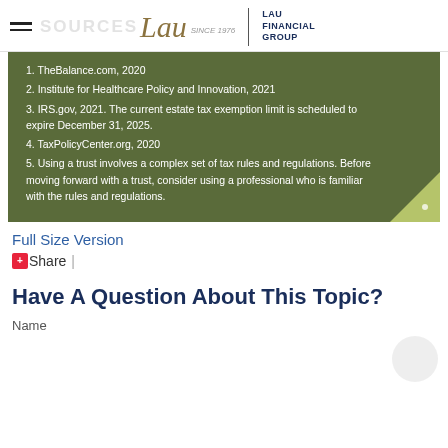SOURCES | Lau Financial Group
1. TheBalance.com, 2020
2. Institute for Healthcare Policy and Innovation, 2021
3. IRS.gov, 2021. The current estate tax exemption limit is scheduled to expire December 31, 2025.
4. TaxPolicyCenter.org, 2020
5. Using a trust involves a complex set of tax rules and regulations. Before moving forward with a trust, consider using a professional who is familiar with the rules and regulations.
Full Size Version
Share |
Have A Question About This Topic?
Name